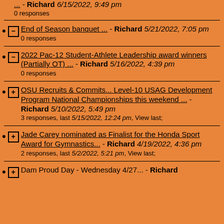... - Richard 6/15/2022, 9:49 pm
0 responses
End of Season banquet ... - Richard 5/21/2022, 7:05 pm
0 responses
2022 Pac-12 Student-Athlete Leadership award winners (Partially OT) ... - Richard 5/16/2022, 4:39 pm
0 responses
OSU Recruits & Commits... Level-10 USAG Development Program National Championships this weekend ... - Richard 5/10/2022, 5:49 pm
3 responses, last 5/15/2022, 12:24 pm, View last;
Jade Carey nominated as Finalist for the Honda Sport Award for Gymnastics... - Richard 4/19/2022, 4:36 pm
2 responses, last 5/2/2022, 5:21 pm, View last;
Dam Proud Day - Wednesday 4/27... - Richard